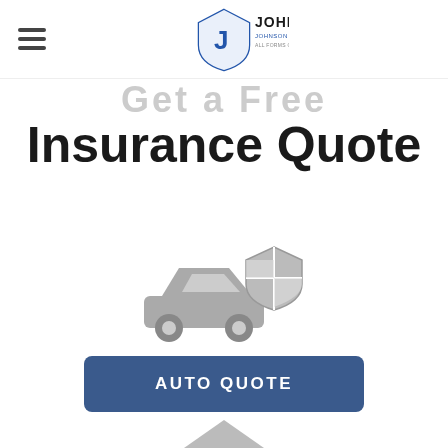[Figure (logo): Johnson Agency Inc logo — shield with J letter and company name]
Get a Free Insurance Quote
[Figure (illustration): Grey icon of a car with a shield/checkmark badge overlay representing auto insurance]
AUTO QUOTE
[Figure (illustration): Grey icon partially visible at bottom, likely a home or other insurance type icon]